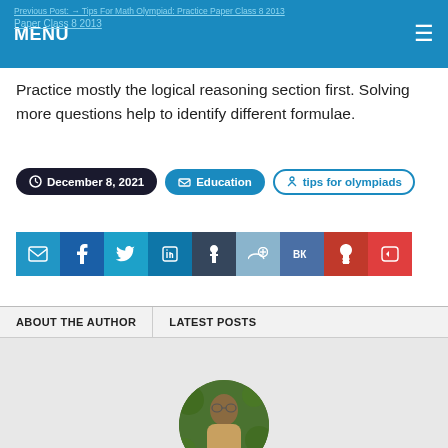MENU
Practice mostly the logical reasoning section first. Solving more questions help to identify different formulae.
December 8, 2021 | Education | tips for olympiads
[Figure (infographic): Row of social sharing buttons: email, Facebook, Twitter, LinkedIn, Tumblr, Reddit, VK, Pinterest, Pocket]
ABOUT THE AUTHOR
LATEST POSTS
[Figure (photo): Circular profile photo of a man in a brown kurta standing in front of green foliage]